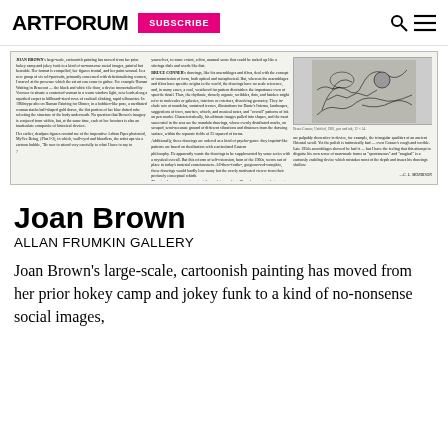ARTFORUM  SUBSCRIBE
[Figure (other): Scanned magazine page spread showing two columns of small text about Joan Brown and Bruce Conner, with a black and white artwork image on the right side]
Joan Brown
ALLAN FRUMKIN GALLERY
Joan Brown's large-scale, cartoonish painting has moved from her prior hokey camp and jokey funk to a kind of ...